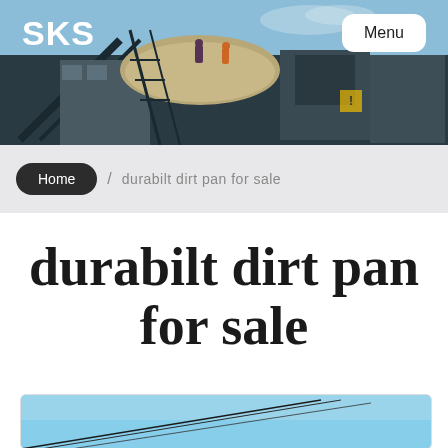[Figure (photo): Industrial quarry/mining machinery and conveyor belts at a processing site, with workers visible, against a partly cloudy sky]
SKS
Menu
Home / durabilt dirt pan for sale
durabilt dirt pan for sale
[Figure (photo): Partial view of a crane or construction equipment against a blue sky, inside a card/box element]